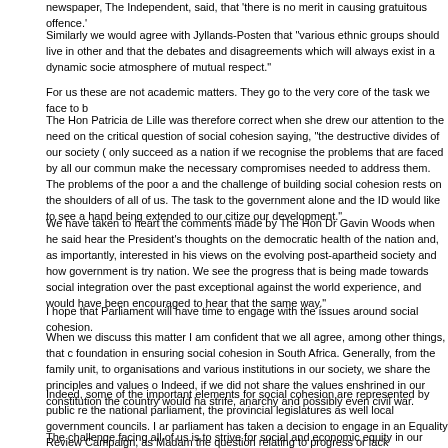newspaper, The Independent, said, that 'there is no merit in causing gratuitous offence.'
Similarly we would agree with Jyllands-Posten that "various ethnic groups should live in other and that the debates and disagreements which will always exist in a dynamic socie atmosphere of mutual respect."
For us these are not academic matters. They go to the very core of the task we face to b
The Hon Patricia de Lille was therefore correct when she drew our attention to the need on the critical question of social cohesion saying, "the destructive divides of our society ( only succeed as a nation if we recognise the problems that are faced by all our commun make the necessary compromises needed to address them. The problems of the poor a and the challenge of building social cohesion rests on the shoulders of all of us. The task to the government alone and the ID would like to see a hand being extended to our citize our development."
We have taken to heart the comments made by The Hon Dr Gavin Woods when he said hear the President's thoughts on the democratic health of the nation and, as importantly, interested in his views on the evolving post-apartheid society and how government is try nation. We see the progress that is being made towards social integration over the past exceptional against the world experience, and would have been encouraged to hear that the same way."
I hope that Parliament will have time to engage with the issues around social cohesion.
When we discuss this matter I am confident that we all agree, among other things, that c foundation in ensuring social cohesion in South Africa. Generally, from the family unit, to organisations and various institutions in our society, we share the principles and values o Indeed, if we did not share the values enshrined in our constitution the country would ha strife, anarchy and possibly even civil war.
Indeed, some of the important elements for social cohesion are represented by public re the national parliament, the provincial legislatures as well local government councils. I ar parliament has taken a decision to engage in an Equality Review Campaign, as Madam the question relating to progress or lack
The challenge facing all of us is to strive for social and economic equity in our country, so divisions that defines a section of the South Africans population as poor, labourers, unem and the corol-fact of the wealthy elites, or their living detestained by the rich, the doers o